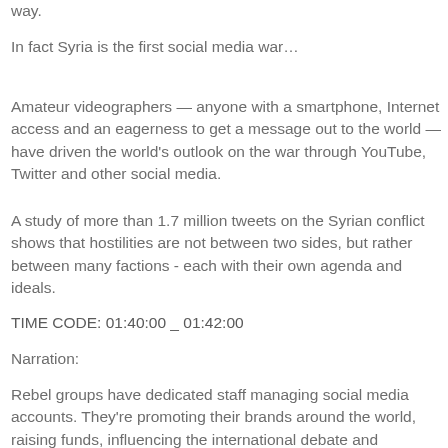way.
In fact Syria is the first social media war…
Amateur videographers — anyone with a smartphone, Internet access and an eagerness to get a message out to the world — have driven the world's outlook on the war through YouTube, Twitter and other social media.
A study of more than 1.7 million tweets on the Syrian conflict shows that hostilities are not between two sides, but rather between many factions - each with their own agenda and ideals.
TIME CODE: 01:40:00 _ 01:42:00
Narration:
Rebel groups have dedicated staff managing social media accounts. They're promoting their brands around the world, raising funds, influencing the international debate and recruiting new fighters from all over the world, a generation